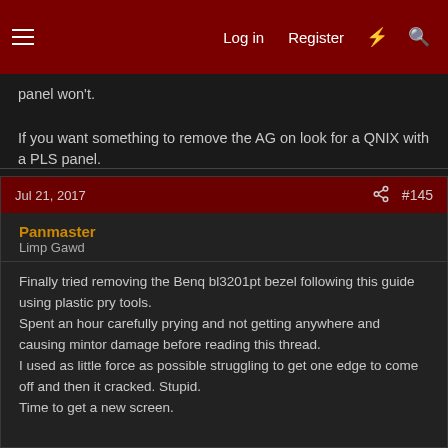Log in  Register  #145
panel won't.

If you want something to remove the AG on look for a QNIX with a PLS panel.
Jul 21, 2017  #145
Panmaster
Limp Gawd
Finally tried removing the Benq bl3201pt bezel following this guide using plastic pry tools.
Spent an hour carefully prying and not getting anywhere and causing mintor damage before reading this thread.
I used as little force as possible struggling to get one edge to come off and then it cracked. Stupid.
Time to get a new screen.